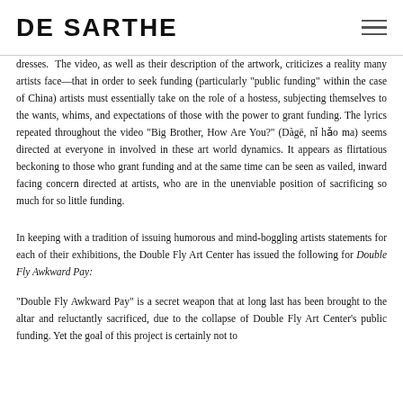DE SARTHE
dresses. The video, as well as their description of the artwork, criticizes a reality many artists face—that in order to seek funding (particularly "public funding" within the case of China) artists must essentially take on the role of a hostess, subjecting themselves to the wants, whims, and expectations of those with the power to grant funding. The lyrics repeated throughout the video "Big Brother, How Are You?" (Dàgē, nǐ hǎo ma) seems directed at everyone in involved in these art world dynamics. It appears as flirtatious beckoning to those who grant funding and at the same time can be seen as vailed, inward facing concern directed at artists, who are in the unenviable position of sacrificing so much for so little funding.
In keeping with a tradition of issuing humorous and mind-boggling artists statements for each of their exhibitions, the Double Fly Art Center has issued the following for Double Fly Awkward Pay:
"Double Fly Awkward Pay" is a secret weapon that at long last has been brought to the altar and reluctantly sacrificed, due to the collapse of Double Fly Art Center's public funding. Yet the goal of this project is certainly not to